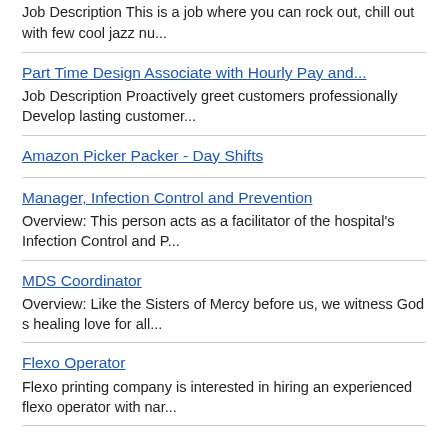Job Description This is a job where you can rock out, chill out with few cool jazz nu...
Part Time Design Associate with Hourly Pay and...
Job Description Proactively greet customers professionally Develop lasting customer...
Amazon Picker Packer - Day Shifts
Manager, Infection Control and Prevention
Overview: This person acts as a facilitator of the hospital's Infection Control and P...
MDS Coordinator
Overview: Like the Sisters of Mercy before us, we witness God s healing love for all...
Flexo Operator
Flexo printing company is interested in hiring an experienced flexo operator with nar...